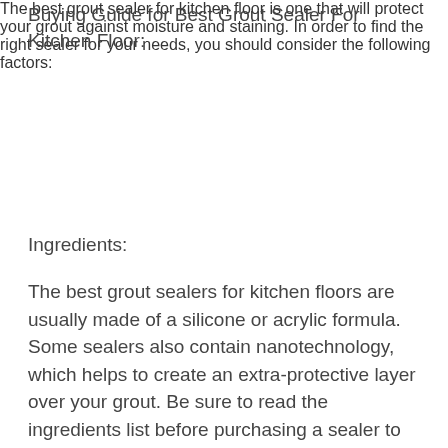Buying Guide for Best Grout Sealer For Kitchen Floor:
The best grout sealer for kitchen floor is one that will protect your grout against moisture and staining. In order to find the right sealer for your needs, you should consider the following factors:
Ingredients:
The best grout sealers for kitchen floors are usually made of a silicone or acrylic formula. Some sealers also contain nanotechnology, which helps to create an extra-protective layer over your grout. Be sure to read the ingredients list before purchasing a sealer to ensure that it is suitable for your needs.